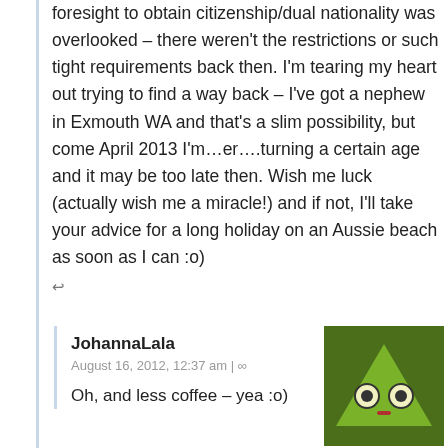foresight to obtain citizenship/dual nationality was overlooked – there weren't the restrictions or such tight requirements back then. I'm tearing my heart out trying to find a way back – I've got a nephew in Exmouth WA and that's a slim possibility, but come April 2013 I'm…er….turning a certain age and it may be too late then. Wish me luck (actually wish me a miracle!) and if not, I'll take your advice for a long holiday on an Aussie beach as soon as I can :o)
↩
JohannaLala
August 16, 2012, 12:37 am | ∞
Oh, and less coffee – yea :o)